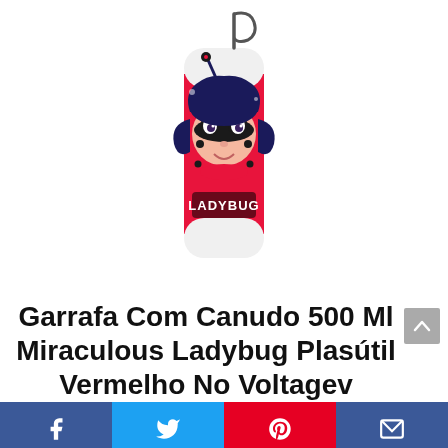[Figure (photo): Product photo of a Ladybug-branded water bottle (500ml) with a red background, featuring Miraculous Ladybug character illustration and a carabiner clip on top.]
Garrafa Com Canudo 500 Ml Miraculous Ladybug Plasútil Vermelho No Voltagev
[Figure (infographic): Social media sharing bar with four buttons: Facebook (blue), Twitter (light blue), Pinterest (red), and Email (dark blue), each containing respective icons.]